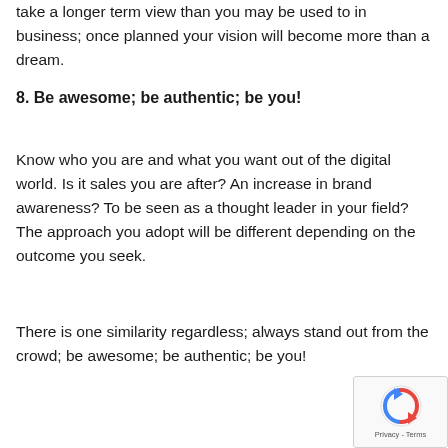take a longer term view than you may be used to in business; once planned your vision will become more than a dream.
8. Be awesome; be authentic; be you!
Know who you are and what you want out of the digital world. Is it sales you are after? An increase in brand awareness? To be seen as a thought leader in your field? The approach you adopt will be different depending on the outcome you seek.
There is one similarity regardless; always stand out from the crowd; be awesome; be authentic; be you!
[Figure (other): reCAPTCHA privacy badge with blue circular arrow icon and Privacy - Terms text]